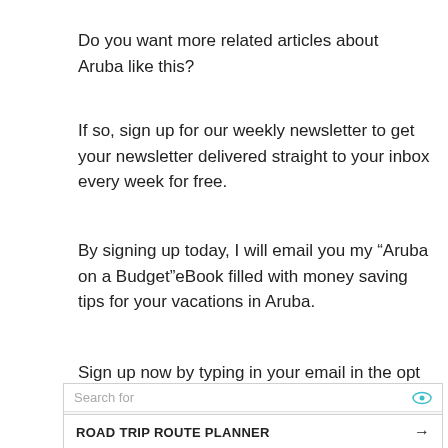Do you want more related articles about Aruba like this?
If so, sign up for our weekly newsletter to get your newsletter delivered straight to your inbox every week for free.
By signing up today, I will email you my “Aruba on a Budget”eBook filled with money saving tips for your vacations in Aruba.
Sign up now by typing in your email in the opt in form
[Figure (other): Ad widget with search bar, two result rows: ROAD TRIP ROUTE PLANNER and CHEAPEST PLACES TO TRAVEL, plus Yahoo Search Sponsored footer]